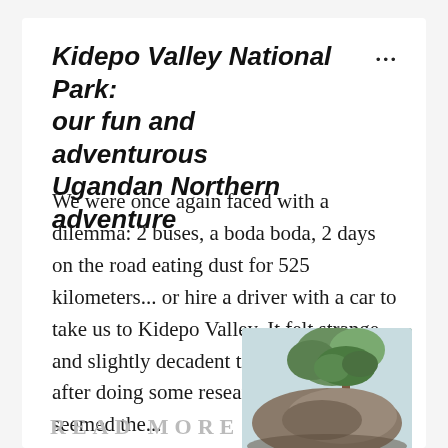Kidepo Valley National Park: our fun and adventurous Ugandan Northern adventure
We were once again faced with a dilemma: 2 buses, a boda boda, 2 days on the road eating dust for 525 kilometers... or hire a driver with a car to take us to Kidepo Valley. It felt strange and slightly decadent to hire a driver but after doing some research, it genuinely seemed the...
[Figure (photo): Photo of a rocky landscape with a tree on top of a boulder, likely taken in Kidepo Valley National Park, Uganda]
READ MORE